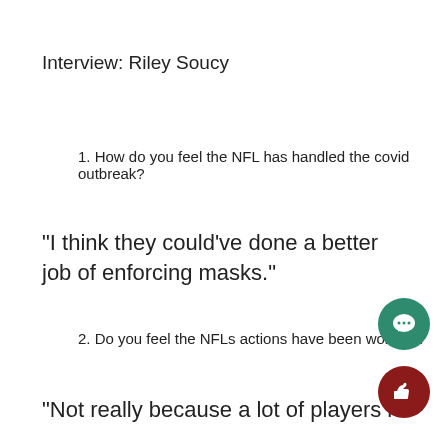Interview: Riley Soucy
1. How do you feel the NFL has handled the covid outbreak?
“I think they could’ve done a better job of enforcing masks.”
2. Do you feel the NFLs actions have been working?
“Not really because a lot of players have got the viru…